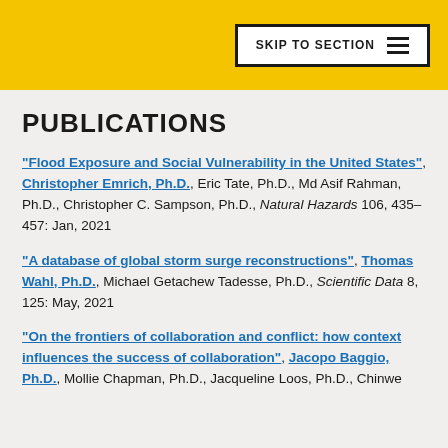SKIP TO SECTION
PUBLICATIONS
"Flood Exposure and Social Vulnerability in the United States", Christopher Emrich, Ph.D., Eric Tate, Ph.D., Md Asif Rahman, Ph.D., Christopher C. Sampson, Ph.D., Natural Hazards 106, 435–457: Jan, 2021
"A database of global storm surge reconstructions", Thomas Wahl, Ph.D., Michael Getachew Tadesse, Ph.D., Scientific Data 8, 125: May, 2021
"On the frontiers of collaboration and conflict: how context influences the success of collaboration", Jacopo Baggio, Ph.D., Mollie Chapman, Ph.D., Jacqueline Loos, Ph.D., Chinwe